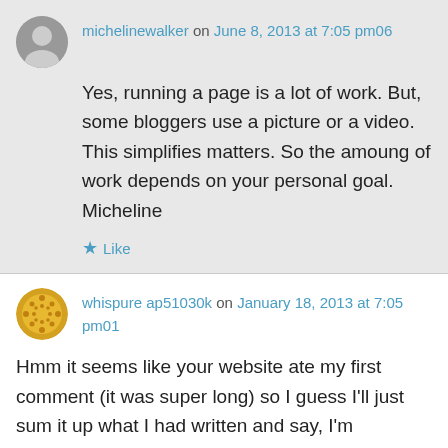michelinewalker on June 8, 2013 at 7:05 pm06
Yes, running a page is a lot of work. But, some bloggers use a picture or a video. This simplifies matters. So the amoung of work depends on your personal goal. Micheline
Like
whispure ap51030k on January 18, 2013 at 7:05 pm01
Hmm it seems like your website ate my first comment (it was super long) so I guess I'll just sum it up what I had written and say, I'm thoroughly enjoying your blog. I as well am an